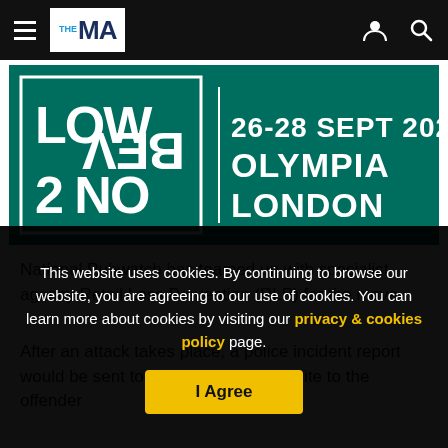THE MA navigation bar with hamburger menu, logo, user icon, search icon
[Figure (illustration): Event banner for LOW2NO BEV event: 26-28 SEPT 2022, OLYMPIA LONDON on dark teal background]
National Pubwatch has teamed up with specialist agency Retail Loss Prevention (RLP) for the move.
After an attack takes place, a police incident report would be sent to RLP, which would write to the offender
This website uses cookies. By continuing to browse our website, you are agreeing to our use of cookies. You can learn more about cookies by visiting our privacy & cookies policy page.